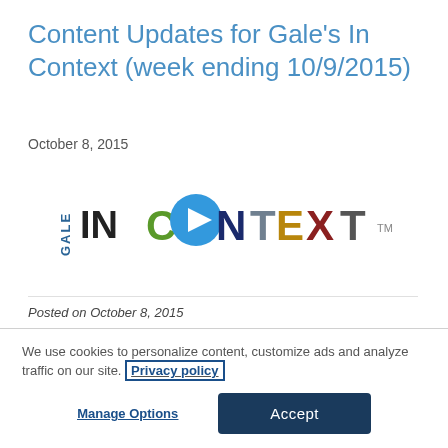Content Updates for Gale’s In Context (week ending 10/9/2015)
October 8, 2015
[Figure (logo): Gale InContext logo with colorful letters and a blue play button]
Posted on October 8, 2015
We use cookies to personalize content, customize ads and analyze traffic on our site. Privacy policy
Manage Options
Accept